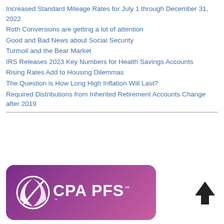Increased Standard Mileage Rates for July 1 through December 31, 2022
Roth Conversions are getting a lot of attention
Good and Bad News about Social Security
Turmoil and the Bear Market
IRS Releases 2023 Key Numbers for Health Savings Accounts
Rising Rates Add to Housing Dilemmas
The Question is How Long High Inflation Will Last?
Required Distributions from Inherited Retirement Accounts Change after 2019
[Figure (logo): CPA PFS logo on purple-to-pink gradient rounded rectangle background with white globe/leaf icon and white text CPA PFS with TM mark]